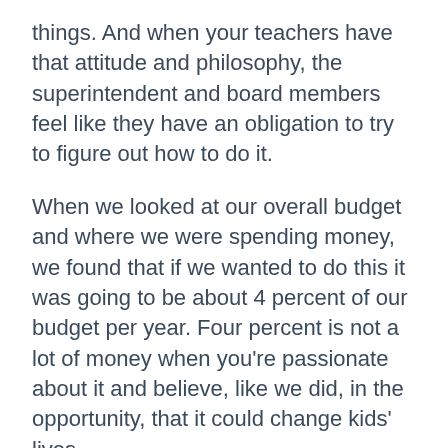things. And when your teachers have that attitude and philosophy, the superintendent and board members feel like they have an obligation to try to figure out how to do it.
When we looked at our overall budget and where we were spending money, we found that if we wanted to do this it was going to be about 4 percent of our budget per year. Four percent is not a lot of money when you're passionate about it and believe, like we did, in the opportunity, that it could change kids' lives.
It started with some federal seed money, but then it was really funded locally. Since it was put in place, we've gotten quite a bit of money through grants. Whether it's a foundation or state grant